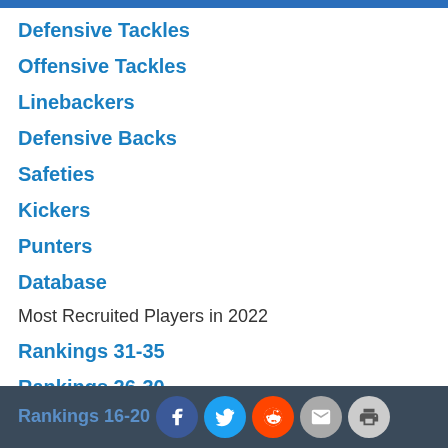Defensive Tackles
Offensive Tackles
Linebackers
Defensive Backs
Safeties
Kickers
Punters
Database
Most Recruited Players in 2022
Rankings 31-35
Rankings 26-30
Rankings 21-25
Rankings 16-20 | Social share icons (Facebook, Twitter, Reddit, Email, Print)